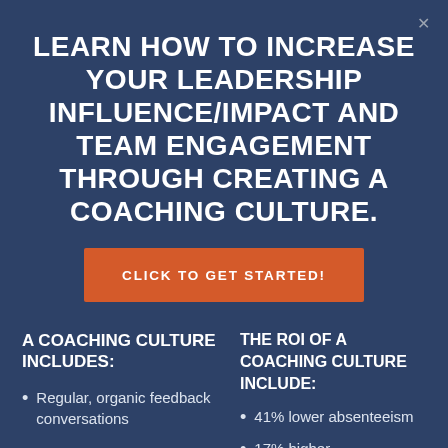LEARN HOW TO INCREASE YOUR LEADERSHIP INFLUENCE/IMPACT AND TEAM ENGAGEMENT THROUGH CREATING A COACHING CULTURE.
CLICK TO GET STARTED!
A COACHING CULTURE INCLUDES:
THE ROI OF A COACHING CULTURE INCLUDE:
Regular, organic feedback conversations
41% lower absenteeism
17% higher